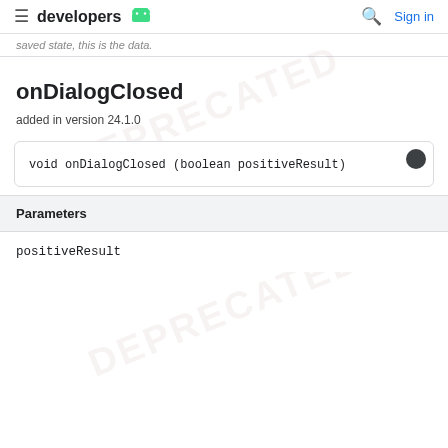developers [android icon] | Sign in
saved state, this is the data.
onDialogClosed
added in version 24.1.0
| Parameters |
| --- |
| positiveResult |